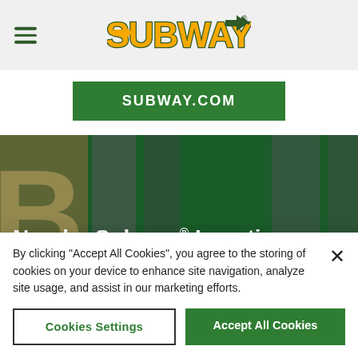[Figure (logo): Subway logo with yellow and green text and arrow icon, shown in header bar with hamburger menu icon on the left]
[Figure (screenshot): Green SUBWAY.COM button centered on white background]
[Figure (photo): Hero banner with dark green background showing partial Subway storefront imagery with large white bold text 'Nearby Subway® Locations']
Wal-Mart #5240
By clicking "Accept All Cookies", you agree to the storing of cookies on your device to enhance site navigation, analyze site usage, and assist in our marketing efforts.
Cookies Settings
Accept All Cookies